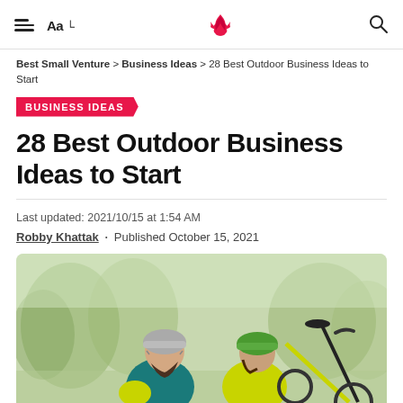Aa | [logo] [search]
Best Small Venture > Business Ideas > 28 Best Outdoor Business Ideas to Start
BUSINESS IDEAS
28 Best Outdoor Business Ideas to Start
Last updated: 2021/10/15 at 1:54 AM
Robby Khattak · Published October 15, 2021
[Figure (photo): Two cyclists wearing helmets resting outdoors with bicycles in the background, in a park-like setting with trees and soft natural light.]